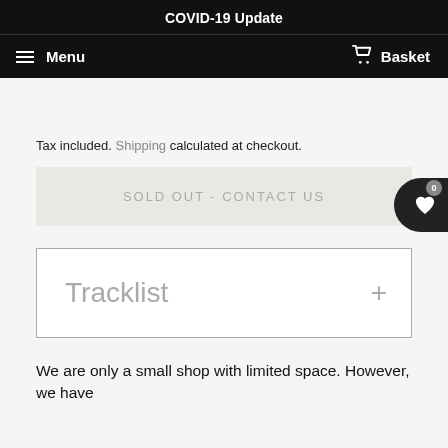COVID-19 Update
Menu  Basket
Tax included. Shipping calculated at checkout.
SOLD OUT - CONTACT US
Tracklist +
We are only a small shop with limited space. However, we have